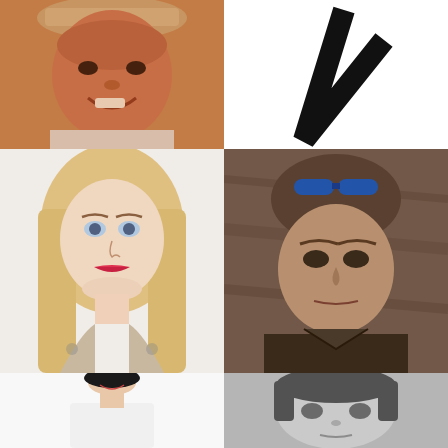[Figure (photo): Close-up photo of an older man wearing a tan/straw hat, smiling, with reddish-orange skin tones, wearing a light-colored shirt]
[Figure (illustration): Partial black V-shape or checkmark graphic on white background, upper right corner]
[Figure (photo): Young woman with long straight blonde hair, red lipstick, wearing a floral/patterned top, posing for selfie against white wall]
[Figure (photo): Man with short brown hair and sunglasses on top of his head, wearing a dark jacket, serious expression, against textured brown background]
[Figure (photo): Young woman with short dark bob haircut, smiling, wearing a white sleeveless top, standing against white background]
[Figure (photo): Grayscale/black-and-white photo of a woman with short dark hair, looking directly at camera, close-up face shot]